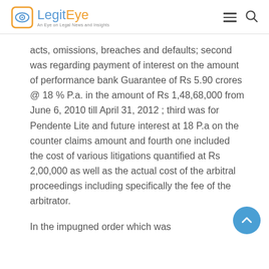LegitEye — An Eye on Legal News and Insights
acts, omissions, breaches and defaults; second was regarding payment of interest on the amount of performance bank Guarantee of Rs 5.90 crores @ 18 % P.a. in the amount of Rs 1,48,68,000 from June 6, 2010 till April 31, 2012 ; third was for Pendente Lite and future interest at 18 P.a on the counter claims amount and fourth one included the cost of various litigations quantified at Rs 2,00,000 as well as the actual cost of the arbitral proceedings including specifically the fee of the arbitrator.
In the impugned order which was